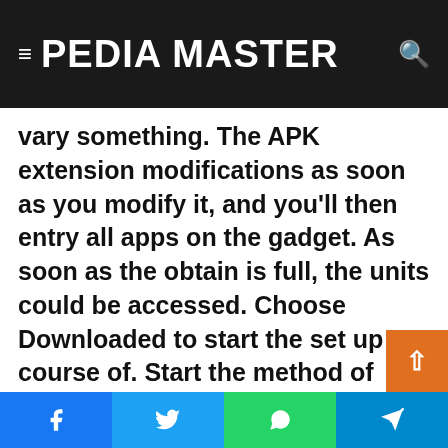PEDIA MASTER
vary something. The APK extension modifications as soon as you modify it, and you'll then entry all apps on the gadget. As soon as the obtain is full, the units could be accessed. Choose Downloaded to start the set up course of. Start the method of downloading the APK file by clicking on it.
Facebook Twitter WhatsApp Telegram share buttons